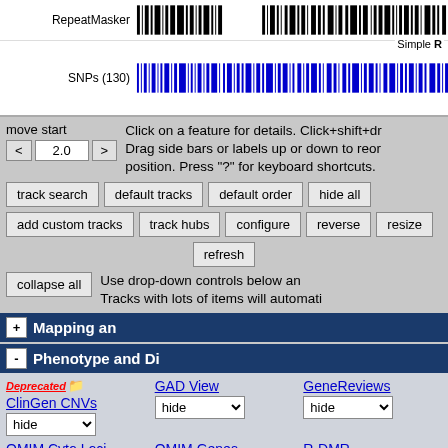[Figure (screenshot): UCSC Genome Browser interface showing RepeatMasker and SNPs (130) barcode tracks at top]
move start
< 2.0 >
Click on a feature for details. Click+shift+dr. Drag side bars or labels up or down to reor. position. Press "?" for keyboard shortcuts.
track search | default tracks | default order | hide all
add custom tracks | track hubs | configure | reverse | resize
refresh
Use drop-down controls below an. Tracks with lots of items will automati.
collapse all
+ Mapping an
- Phenotype and Di
Deprecated ClinGen CNVs hide
GAD View hide
GeneReviews hide
OMIM Cyto Loci hide
OMIM Genes hide
R-DMR hide
- Genes and Ge
UCSC Genes pack
RefSeq Genes dense
ACEScan hide